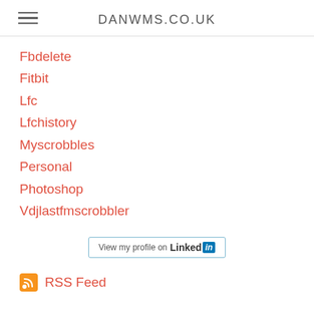DANWMS.CO.UK
Fbdelete
Fitbit
Lfc
Lfchistory
Myscrobbles
Personal
Photoshop
Vdjlastfmscrobbler
[Figure (logo): LinkedIn profile button: 'View my profile on LinkedIn']
RSS Feed